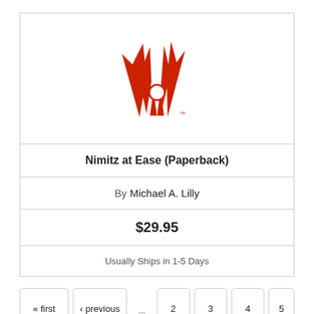[Figure (logo): Red stylized logo with angular wing-like shapes and a circular element, resembling a publisher or company logo]
Nimitz at Ease (Paperback)
By Michael A. Lilly
$29.95
Usually Ships in 1-5 Days
« first  ‹ previous  ...  2  3  4  5
6  7  8  9  10  ...  next ›  ▲